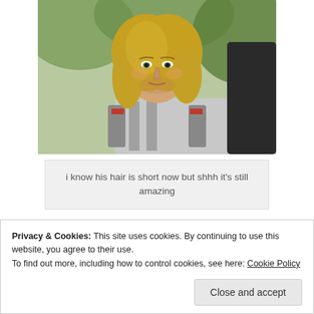[Figure (photo): A blonde man with long hair wearing silver armor (Thor from MCU), photographed outdoors with blurred green foliage in background.]
i know his hair is short now but shhh it's still amazing
If you were transported into the MCU and
Privacy & Cookies: This site uses cookies. By continuing to use this website, you agree to their use.
To find out more, including how to control cookies, see here: Cookie Policy
Close and accept